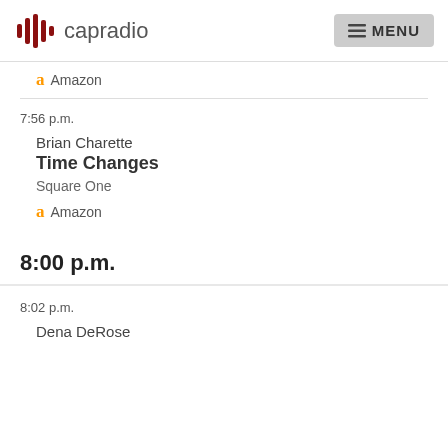capradio  MENU
Amazon
7:56 p.m.
Brian Charette
Time Changes
Square One
Amazon
8:00 p.m.
8:02 p.m.
Dena DeRose